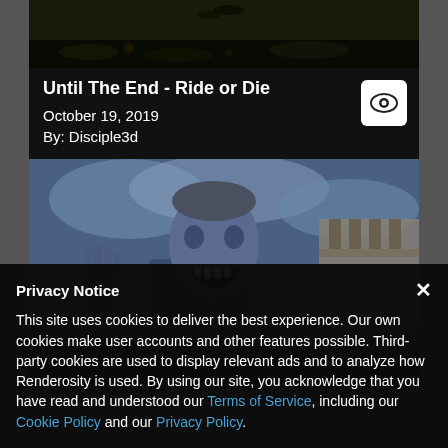[Figure (screenshot): Top portion of a dark image showing ground with leaves]
Until The End - Ride or Die
October 19, 2019
By: Disciple3d
[Figure (photo): A zombie-like creature with blue-tinted skin, clawed hands raised, mouth open in a snarl, stone building in the background, blue-toned horror movie still]
Privacy Notice
This site uses cookies to deliver the best experience. Our own cookies make user accounts and other features possible. Third-party cookies are used to display relevant ads and to analyze how Renderosity is used. By using our site, you acknowledge that you have read and understood our Terms of Service, including our Cookie Policy and our Privacy Policy.